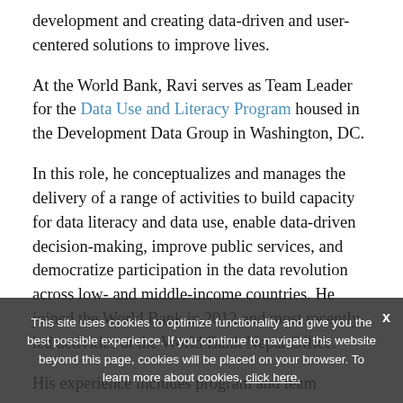development and creating data-driven and user-centered solutions to improve lives.
At the World Bank, Ravi serves as Team Leader for the Data Use and Literacy Program housed in the Development Data Group in Washington, DC.
In this role, he conceptualizes and manages the delivery of a range of activities to build capacity for data literacy and data use, enable data-driven decision-making, improve public services, and democratize participation in the data revolution across low- and middle-income countries. He joined the World Bank in 2012 and most recently led activities at the World Bank Nepal Office.
His experience includes program and team
This site uses cookies to optimize functionality and give you the best possible experience. If you continue to navigate this website beyond this page, cookies will be placed on your browser. To learn more about cookies, click here.